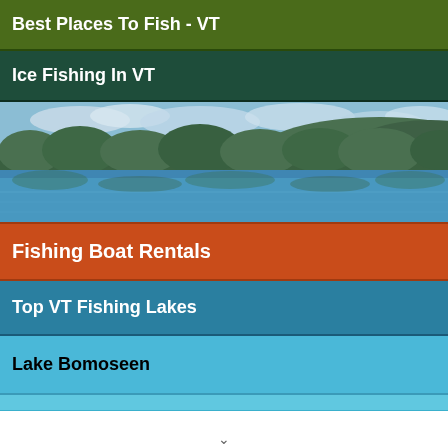Best Places To Fish - VT
Ice Fishing In VT
[Figure (photo): Scenic lake surrounded by forested hills with reflections on calm water under a cloudy sky in Vermont]
Fishing Boat Rentals
Top VT Fishing Lakes
Lake Bomoseen